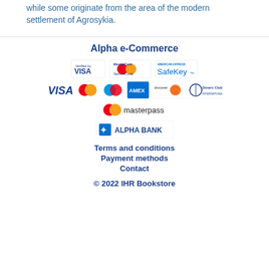while some originate from the area of the modern settlement of Agrosykia.
[Figure (logo): Alpha e-Commerce payment logos section including Verified by VISA, MasterCard SecureCode, American Express SafeKey, VISA, Mastercard, Maestro, Amex, Discover, Diners Club International, Masterpass, and Alpha Bank logo]
Terms and conditions
Payment methods
Contact
© 2022 IHR Bookstore